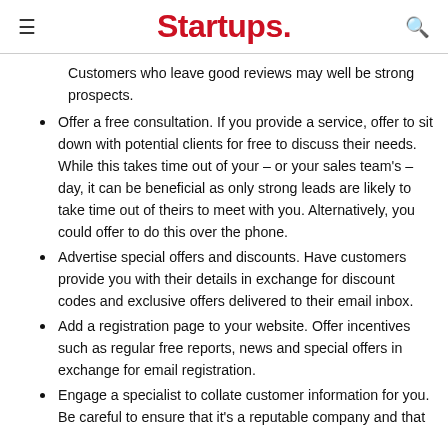Startups.
Customers who leave good reviews may well be strong prospects.
Offer a free consultation. If you provide a service, offer to sit down with potential clients for free to discuss their needs. While this takes time out of your – or your sales team's – day, it can be beneficial as only strong leads are likely to take time out of theirs to meet with you. Alternatively, you could offer to do this over the phone.
Advertise special offers and discounts. Have customers provide you with their details in exchange for discount codes and exclusive offers delivered to their email inbox.
Add a registration page to your website. Offer incentives such as regular free reports, news and special offers in exchange for email registration.
Engage a specialist to collate customer information for you. Be careful to ensure that it's a reputable company and that